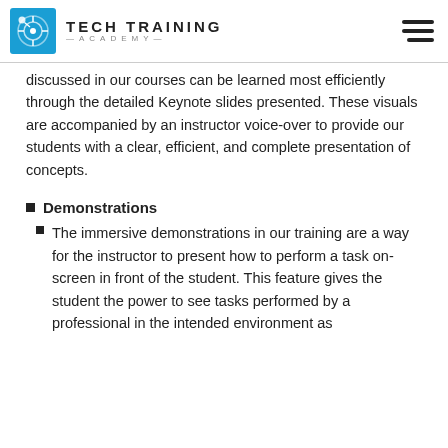TECH TRAINING ACADEMY
discussed in our courses can be learned most efficiently through the detailed Keynote slides presented. These visuals are accompanied by an instructor voice-over to provide our students with a clear, efficient, and complete presentation of concepts.
Demonstrations
The immersive demonstrations in our training are a way for the instructor to present how to perform a task on-screen in front of the student. This feature gives the student the power to see tasks performed by a professional in the intended environment as